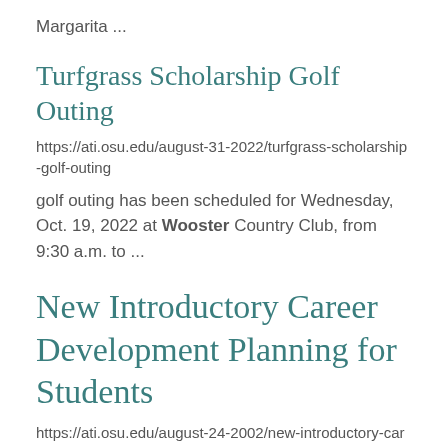Margarita ...
Turfgrass Scholarship Golf Outing
https://ati.osu.edu/august-31-2022/turfgrass-scholarship-golf-outing
golf outing has been scheduled for Wednesday, Oct. 19, 2022 at Wooster Country Club, from 9:30 a.m. to ...
New Introductory Career Development Planning for Students
https://ati.osu.edu/august-24-2002/new-introductory-career-development-planning-for-students
all new students at the CFAES Wooster